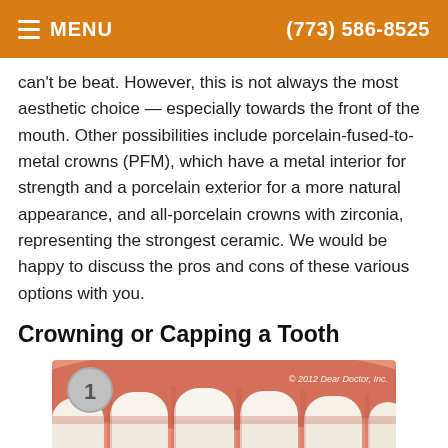MENU  (773) 586-8525
can't be beat. However, this is not always the most aesthetic choice — especially towards the front of the mouth. Other possibilities include porcelain-fused-to-metal crowns (PFM), which have a metal interior for strength and a porcelain exterior for a more natural appearance, and all-porcelain crowns with zirconia, representing the strongest ceramic. We would be happy to discuss the pros and cons of these various options with you.
Crowning or Capping a Tooth
[Figure (illustration): Step 1 illustration showing teeth from a close-up frontal view with pink gum tissue and white teeth. Numbered circle '1' in upper left. Copyright '© 2012 Dear Doctor, Inc.' in upper right. Accessibility View button at bottom right.]